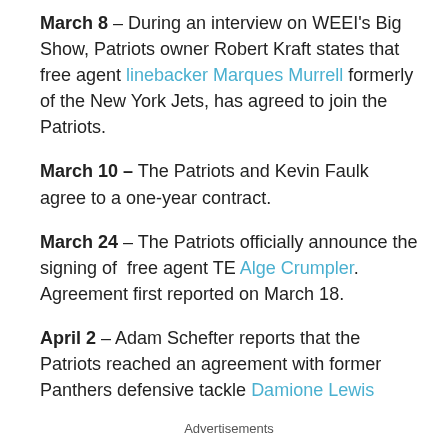March 8 – During an interview on WEEI's Big Show, Patriots owner Robert Kraft states that free agent linebacker Marques Murrell formerly of the New York Jets, has agreed to join the Patriots.
March 10 – The Patriots and Kevin Faulk agree to a one-year contract.
March 24 – The Patriots officially announce the signing of free agent TE Alge Crumpler. Agreement first reported on March 18.
April 2 – Adam Schefter reports that the Patriots reached an agreement with former Panthers defensive tackle Damione Lewis
Advertisements